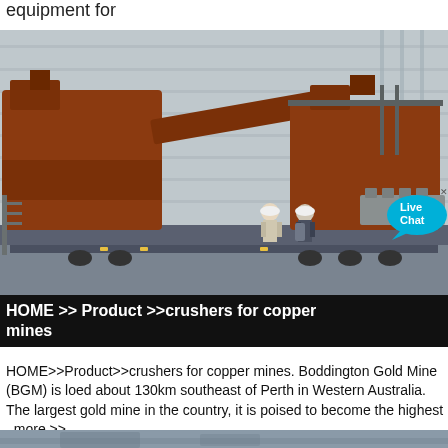equipment for
[Figure (photo): Large industrial crushing and screening equipment loaded on a heavy transport truck/flatbed trailer in front of an industrial warehouse. Two workers in hard hats are visible near the equipment. A 'Live Chat' bubble is overlaid in the top-right area of the photo.]
HOME >> Product >>crushers for copper mines
HOME>>Product>>crushers for copper mines. Boddington Gold Mine (BGM) is loed about 130km southeast of Perth in Western Australia. The largest gold mine in the country, it is poised to become the highest . more >>
[Figure (photo): Partial bottom image showing a mountainous/rocky landscape, cut off at the bottom of the page.]